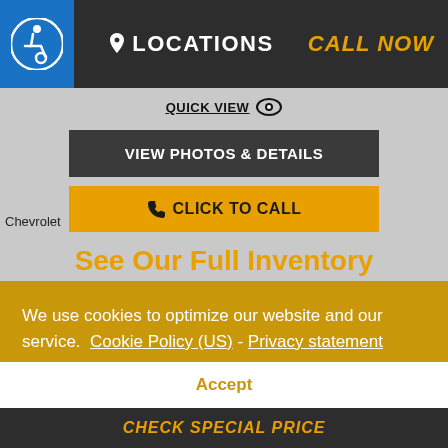[Figure (logo): Blue circle with white wheelchair accessibility icon]
LOCATIONS  CALL NOW
QUICK VIEW
VIEW PHOTOS & DETAILS
CLICK TO CALL
Chevrolet
See Our Full Inventory
OR
First*
We use cookies to optimize our website and our service.  Cookie Policy (US)  -  Privacy statement
Accept
CHECK SPECIAL PRICE